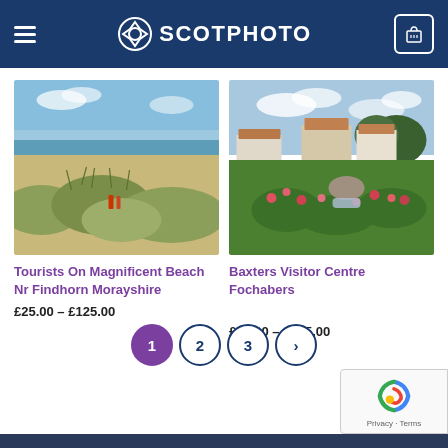SCOTPHOTO
[Figure (photo): Tourists on magnificent beach near Findhorn Morayshire, sandy dunes with grass, two people with bicycles, sea in background]
Tourists On Magnificent Beach Nr Findhorn Morayshire
£25.00 – £125.00
[Figure (photo): Baxters Visitor Centre Fochabers, white cottage buildings, garden with pink/red roses and green lawn, trees in background]
Baxters Visitor Centre Fochabers
£25.00 – £125.00